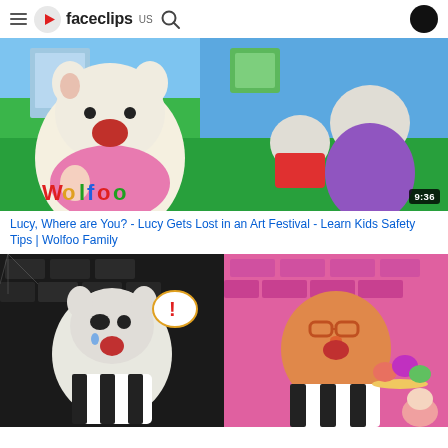faceclips US
[Figure (screenshot): Animated cartoon thumbnail showing wolf characters at an art festival, with 'Wolfoo' logo and duration badge 9:36]
Lucy, Where are You? - Lucy Gets Lost in an Art Festival - Learn Kids Safety Tips | Wolfoo Family
[Figure (screenshot): Animated cartoon thumbnail split in two: left side dark dungeon scene with crying wolf in prisoner outfit, right side pink brick wall scene with cat in prisoner outfit eating cupcakes]